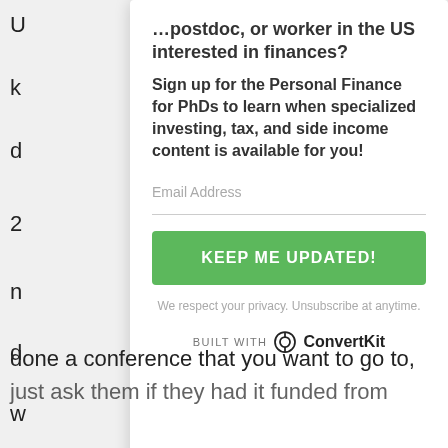postdoc, or worker in the US interested in finances?
Sign up for the Personal Finance for PhDs to learn when specialized investing, tax, and side income content is available for you!
Email Address
KEEP ME UPDATED!
We respect your privacy. Unsubscribe at anytime.
[Figure (logo): BUILT WITH ConvertKit logo]
done a conference that you want to go to,